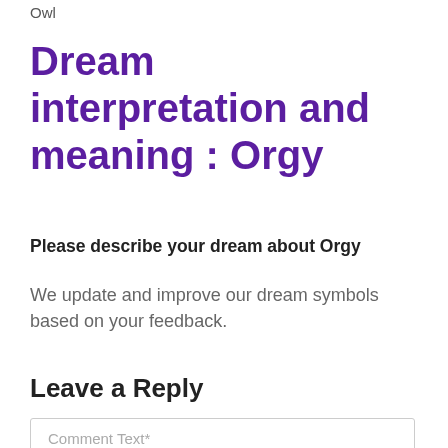Owl
Dream interpretation and meaning : Orgy
Please describe your dream about Orgy
We update and improve our dream symbols based on your feedback.
Leave a Reply
Comment Text*